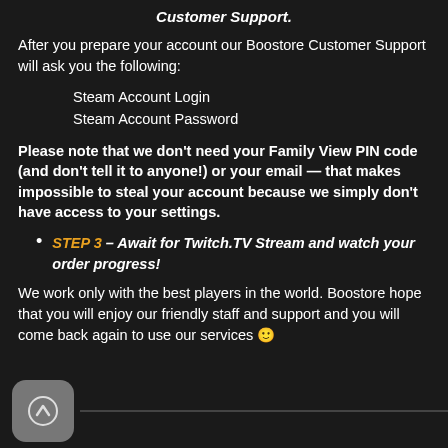Customer Support.
After you prepare your account our Boostore Customer Support will ask you the following:
1. Steam Account Login
2. Steam Account Password
Please note that we don't need your Family View PIN code (and don't tell it to anyone!) or your email — that makes impossible to steal your account because we simply don't have access to your settings.
STEP 3 – Await for Twitch.TV Stream and watch your order progress!
We work only with the best players in the world. Boostore hope that you will enjoy our friendly staff and support and you will come back again to use our services 🙂